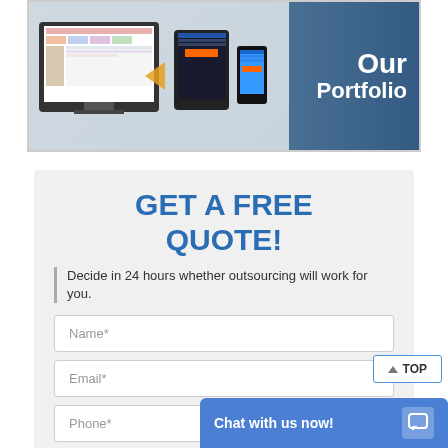[Figure (screenshot): Portfolio banner showing website on desktop monitor, tablet, and smartphone devices, with 'Our Portfolio' text on right side over blue background]
GET A FREE QUOTE!
Decide in 24 hours whether outsourcing will work for you.
Name*
Email*
Phone*
▲ TOP
Chat with us now!